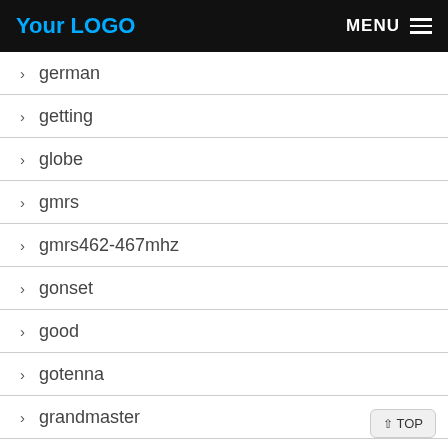Your LOGO  MENU
> german
> getting
> globe
> gmrs
> gmrs462-467mhz
> gonset
> good
> gotenna
> grandmaster
> great
> greatest